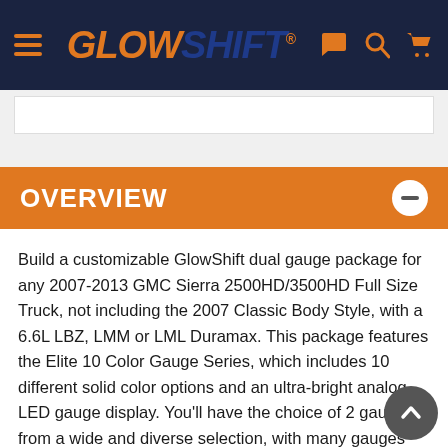GlowShift navigation bar with hamburger menu, GlowShift logo, chat, search, and cart icons
OVERVIEW
Build a customizable GlowShift dual gauge package for any 2007-2013 GMC Sierra 2500HD/3500HD Full Size Truck, not including the 2007 Classic Body Style, with a 6.6L LBZ, LMM or LML Duramax. This package features the Elite 10 Color Gauge Series, which includes 10 different solid color options and an ultra-bright analog LED gauge display. You'll have the choice of 2 gauges from a wide and diverse selection, with many gauges including their required sensor. As part of this gauge package you will also receive a full size factory color matched tan dual pillar gauge pod with a speaker cutout which mounts to the factory A pillar for a seamless fit.